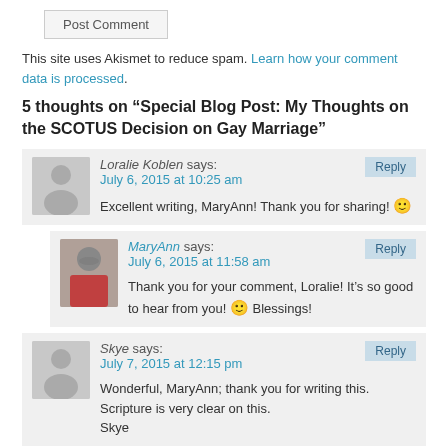Post Comment (button)
This site uses Akismet to reduce spam. Learn how your comment data is processed.
5 thoughts on “Special Blog Post: My Thoughts on the SCOTUS Decision on Gay Marriage”
Loralie Koblen says: July 6, 2015 at 10:25 am
Excellent writing, MaryAnn! Thank you for sharing! 🙂
MaryAnn says: July 6, 2015 at 11:58 am
Thank you for your comment, Loralie! It’s so good to hear from you! 🙂 Blessings!
Skye says: July 7, 2015 at 12:15 pm
Wonderful, MaryAnn; thank you for writing this. Scripture is very clear on this.
Skye